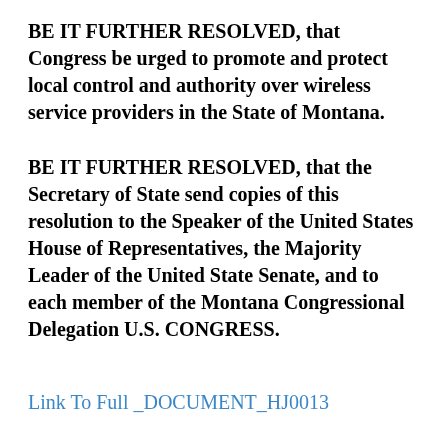BE IT FURTHER RESOLVED, that Congress be urged to promote and protect local control and authority over wireless service providers in the State of Montana.
BE IT FURTHER RESOLVED, that the Secretary of State send copies of this resolution to the Speaker of the United States House of Representatives, the Majority Leader of the United State Senate, and to each member of the Montana Congressional Delegation U.S. CONGRESS.
Link To Full _DOCUMENT_HJ0013